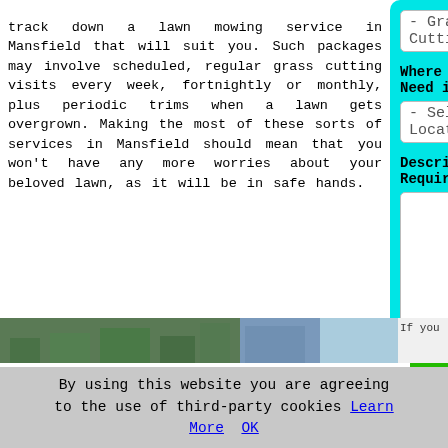track down a lawn mowing service in Mansfield that will suit you. Such packages may involve scheduled, regular grass cutting visits every week, fortnightly or monthly, plus periodic trims when a lawn gets overgrown. Making the most of these sorts of services in Mansfield should mean that you won't have any more worries about your beloved lawn, as it will be in safe hands.
[Figure (screenshot): Web form on cyan background with dropdown for Grass Cutting service, dropdown for Select Location, textarea for requirements, and green SUBMIT button]
[Figure (photo): Partial image strip visible at bottom of page, showing grass/lawn photo]
By using this website you are agreeing to the use of third-party cookies Learn More  OK